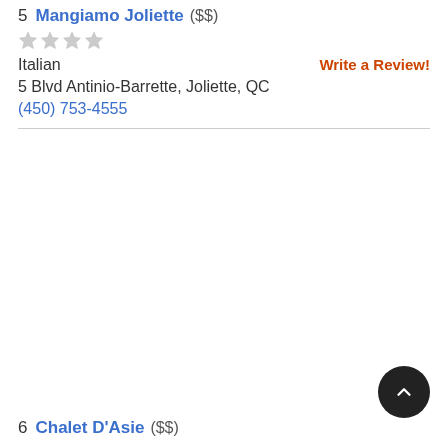5 Mangiamo Joliette ($$)
Italian   Write a Review!
5 Blvd Antinio-Barrette, Joliette, QC
(450) 753-4555
6 Chalet D'Asie ($$)